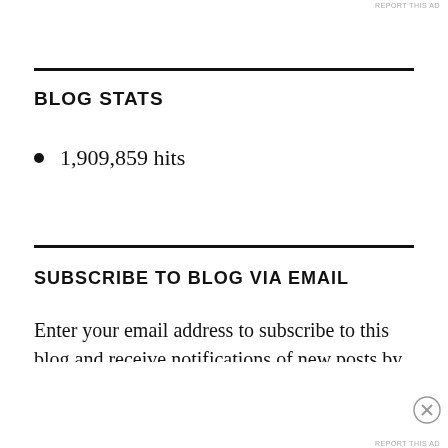REPORT THIS AD
BLOG STATS
1,909,859 hits
SUBSCRIBE TO BLOG VIA EMAIL
Enter your email address to subscribe to this blog and receive notifications of new posts by
[Figure (other): Advertisement banner: KISS BORING LIPS GOODBYE - SHOP NOW - macys star logo, red background with woman's face]
Advertisements